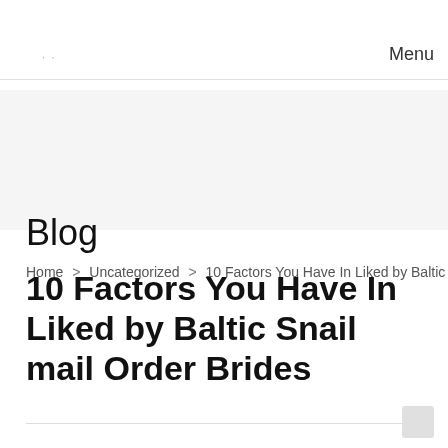Menu
Blog
Home > Uncategorized > 10 Factors You Have In Liked by Baltic Sna
10 Factors You Have In Liked by Baltic Snail mail Order Brides